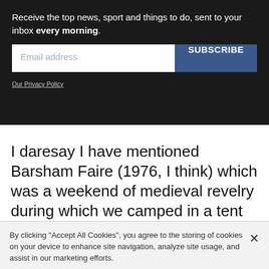Receive the top news, sport and things to do, sent to your inbox every morning.
[Figure (screenshot): Email subscription form with an email address input field and a blue SUBSCRIBE button]
Our Privacy Policy
I daresay I have mentioned Barsham Faire (1976, I think) which was a weekend of medieval revelry during which we camped in a tent in a field. Someone brought their donkey which brayed at 6am and woke everyone
By clicking "Accept All Cookies", you agree to the storing of cookies on your device to enhance site navigation, analyze site usage, and assist in our marketing efforts.